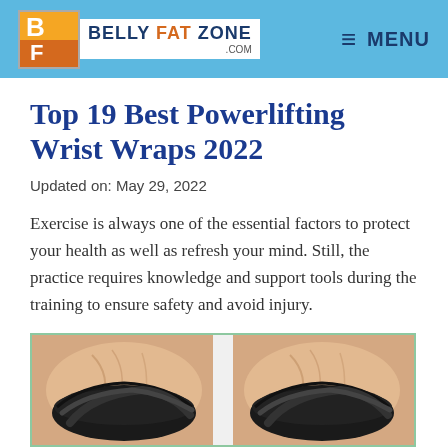BELLY FAT ZONE .COM — MENU
Top 19 Best Powerlifting Wrist Wraps 2022
Updated on: May 29, 2022
Exercise is always one of the essential factors to protect your health as well as refresh your mind. Still, the practice requires knowledge and support tools during the training to ensure safety and avoid injury.
[Figure (photo): Two wrists/forearms wearing black powerlifting wrist wraps, shown from above against a white background.]